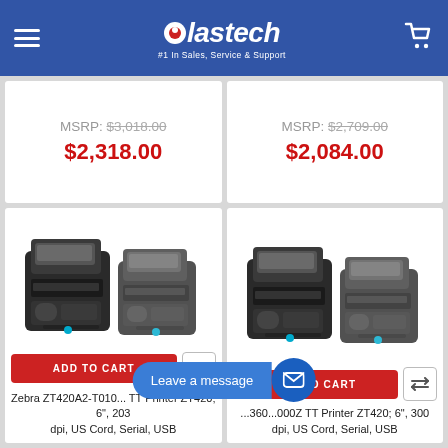plastech #1 In Sales, Service & Support
MSRP: $3,018.00
$2,318.00
MSRP: $2,709.00
$2,084.00
[Figure (photo): Two Zebra ZT420 industrial label printers side by side]
[Figure (photo): Two Zebra ZT420 industrial label printers side by side]
ADD TO CART
ADD TO CART
Zebra ZT420A2-T010... TT Printer ZT420; 6", 203 dpi, US Cord, Serial, USB
...360...000Z TT Printer ZT420; 6", 300 dpi, US Cord, Serial, USB
Leave a message